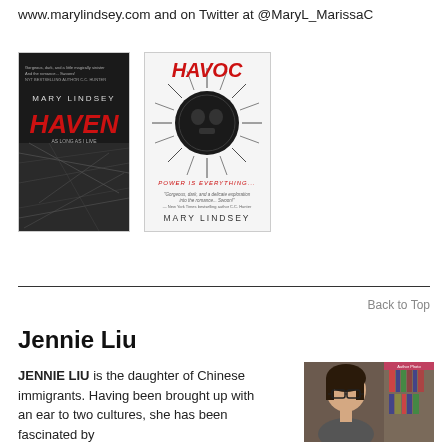www.marylindsey.com and on Twitter at @MaryL_MarissaC
[Figure (photo): Book cover for HAVEN by Mary Lindsey - black and white cover with dark imagery and red title text]
[Figure (photo): Book cover for HAVOC by Mary Lindsey - dark cover with spiked circular design and red title text, tagline 'Power is Everything']
Back to Top
Jennie Liu
JENNIE LIU is the daughter of Chinese immigrants. Having been brought up with an ear to two cultures, she has been fascinated by
[Figure (photo): Author photo of Jennie Liu, a woman with dark hair and glasses, seated in front of bookshelves]